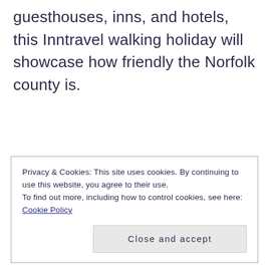guesthouses, inns, and hotels, this Inntravel walking holiday will showcase how friendly the Norfolk county is.
Privacy & Cookies: This site uses cookies. By continuing to use this website, you agree to their use. To find out more, including how to control cookies, see here: Cookie Policy